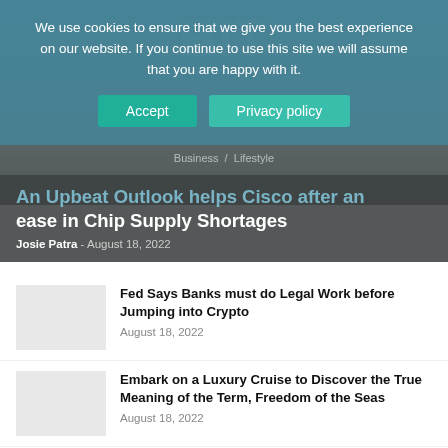We use cookies to ensure that we give you the best experience on our website. If you continue to use this site we will assume that you are happy with it.
Accept | Privacy policy
An Upbeat Outlook helps Cisco after an ease in Chip Supply Shortages
Josie Patra - August 18, 2022
Fed Says Banks must do Legal Work before Jumping into Crypto
August 18, 2022
Embark on a Luxury Cruise to Discover the True Meaning of the Term, Freedom of the Seas
August 18, 2022
Netflix's New Ad-Supported Service to Block Downloads of Movies, Shows
August 18, 2022